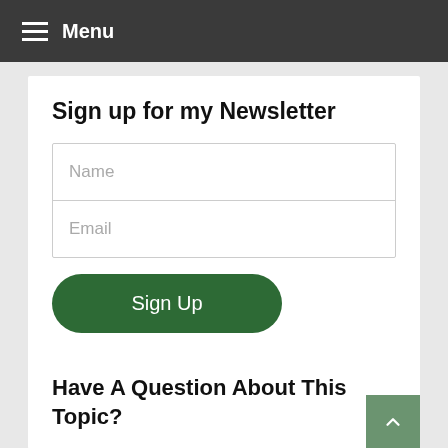Menu
Sign up for my Newsletter
Name
Email
Sign Up
Have A Question About This Topic?